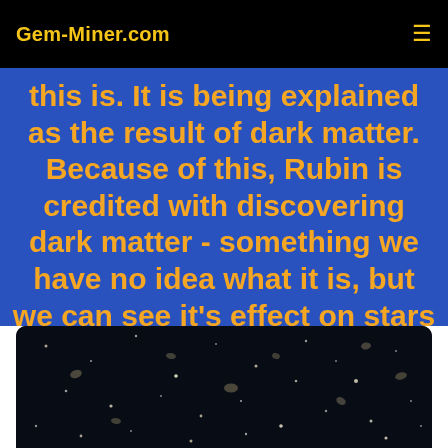Gem-Miner.com
this is. It is being explained as the result of dark matter. Because of this, Rubin is credited with discovering dark matter - something we have no idea what it is, but we can see it's effect on stars in galaxies.
[Figure (photo): Deep space photograph showing a dark sky field filled with numerous distant galaxies and stars of various sizes and brightness]